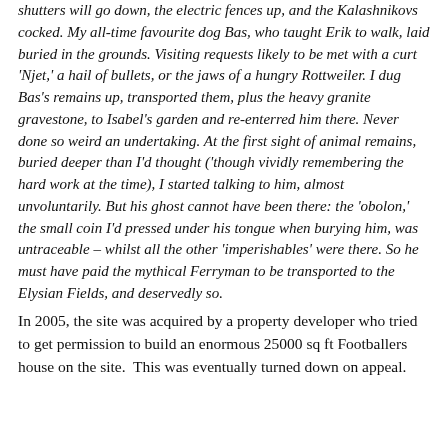shutters will go down, the electric fences up, and the Kalashnikovs cocked. My all-time favourite dog Bas, who taught Erik to walk, laid buried in the grounds. Visiting requests likely to be met with a curt 'Njet,' a hail of bullets, or the jaws of a hungry Rottweiler. I dug Bas's remains up, transported them, plus the heavy granite gravestone, to Isabel's garden and re-enterred him there. Never done so weird an undertaking. At the first sight of animal remains, buried deeper than I'd thought ('though vividly remembering the hard work at the time), I started talking to him, almost unvoluntarily. But his ghost cannot have been there: the 'obolon,' the small coin I'd pressed under his tongue when burying him, was untraceable – whilst all the other 'imperishables' were there. So he must have paid the mythical Ferryman to be transported to the Elysian Fields, and deservedly so.
In 2005, the site was acquired by a property developer who tried to get permission to build an enormous 25000 sq ft Footballers house on the site.  This was eventually turned down on appeal.